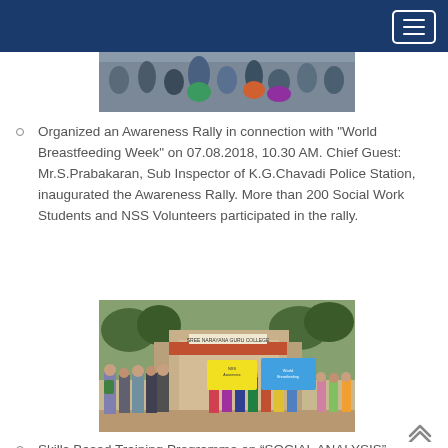Navigation bar with hamburger menu
[Figure (photo): Partial photo showing a group of people at the top of the page, cropped]
Organized an Awareness Rally in connection with "World Breastfeeding Week" on 07.08.2018, 10.30 AM. Chief Guest: Mr.S.Prabakaran, Sub Inspector of K.G.Chavadi Police Station, inaugurated the Awareness Rally. More than 200 Social Work Students and NSS Volunteers participated in the rally.
[Figure (photo): Photo of a group of people including students holding banners and posters in front of Sree Narayana Guru College gate, taken during the Awareness Rally for World Breastfeeding Week]
Skills Based Training Programme on “SOCIAL ANALYSIS” on 03-08-2018, 10 AM. Resource Person: